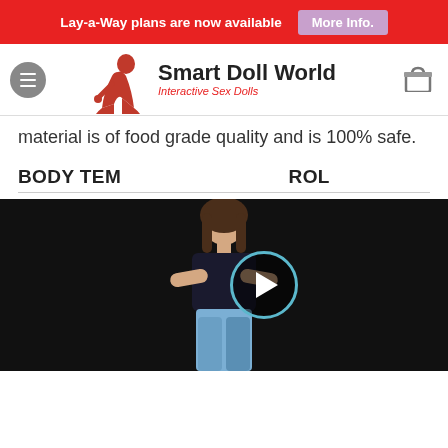Lay-a-Way plans are now available  More Info.
[Figure (logo): Smart Doll World logo with red female silhouette figure and text 'Smart Doll World - Interactive Sex Dolls']
material is of food grade quality and is 100% safe.
BODY TEMPERATURE CONTROL
[Figure (photo): Video thumbnail showing a woman in black tank top and jeans with arms crossed, on black background, with a circular play button overlay]